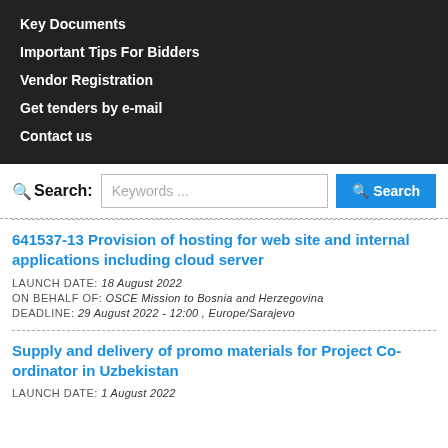Key Documents
Important Tips For Bidders
Vendor Registration
Get tenders by e-mail
Contact us
Search: Keywords ... Search
641537-13 Provision of hosting for web site and internal applications including cloud server
LAUNCH DATE: 18 August 2022
ON BEHALF OF: OSCE Mission to Bosnia and Herzegovina
DEADLINE: 29 August 2022 - 12:00 , Europe/Sarajevo
Supply and delivery of promo materials for Project Co-ordinator in Uzbekistan
LAUNCH DATE: 1 August 2022